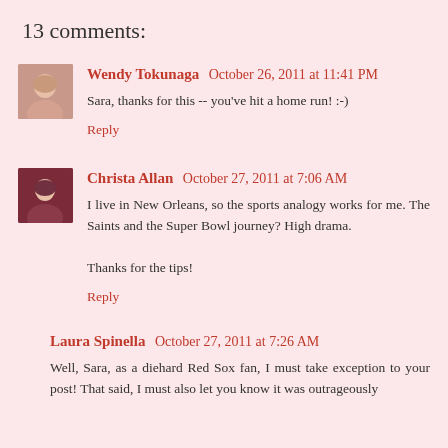13 comments:
Wendy Tokunaga  October 26, 2011 at 11:41 PM
Sara, thanks for this -- you've hit a home run! :-)
Reply
Christa Allan  October 27, 2011 at 7:06 AM
I live in New Orleans, so the sports analogy works for me. The Saints and the Super Bowl journey? High drama.
Thanks for the tips!
Reply
Laura Spinella  October 27, 2011 at 7:26 AM
Well, Sara, as a diehard Red Sox fan, I must take exception to your post! That said, I must also let you know it was outrageously